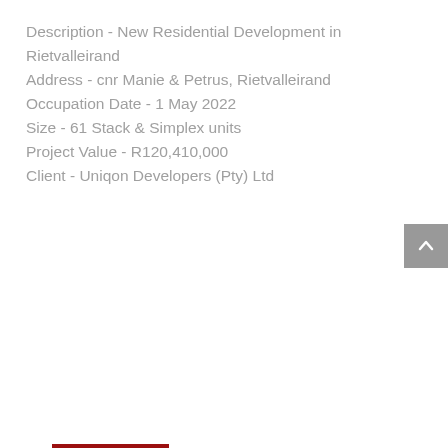Description - New Residential Development in Rietvalleirand
Address - cnr Manie & Petrus, Rietvalleirand
Occupation Date - 1 May 2022
Size - 61 Stack & Simplex units
Project Value - R120,410,000
Client - Uniqon Developers (Pty) Ltd
READ MORE